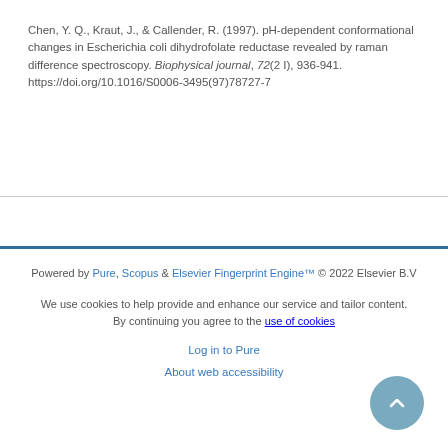Chen, Y. Q., Kraut, J., & Callender, R. (1997). pH-dependent conformational changes in Escherichia coli dihydrofolate reductase revealed by raman difference spectroscopy. Biophysical journal, 72(2 I), 936-941. https://doi.org/10.1016/S0006-3495(97)78727-7
Powered by Pure, Scopus & Elsevier Fingerprint Engine™ © 2022 Elsevier B.V
We use cookies to help provide and enhance our service and tailor content. By continuing you agree to the use of cookies
Log in to Pure
About web accessibility